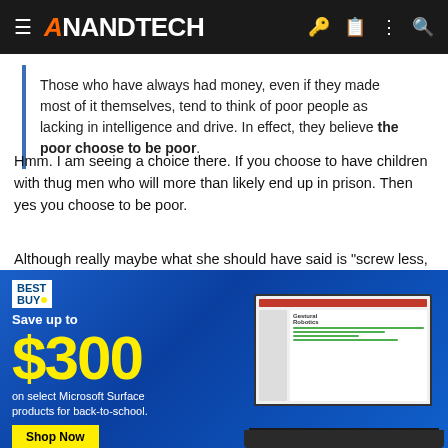AnandTech
Those who have always had money, even if they made most of it themselves, tend to think of poor people as lacking in intelligence and drive. In effect, they believe the poor choose to be poor.
Hmm. I am seeing a choice there. If you choose to have children with thug men who will more than likely end up in prison. Then yes you choose to be poor.
Although really maybe what she should have said is "screw less, work more".
EDIT: Judging by the picture it certainly worked for her
[Figure (advertisement): Best Buy advertisement: Save up to $300 on select Microsoft Surface products for back-to-school. Shop Now button. Image of a laptop showing PowerPoint with Gestural Robotics slide.]